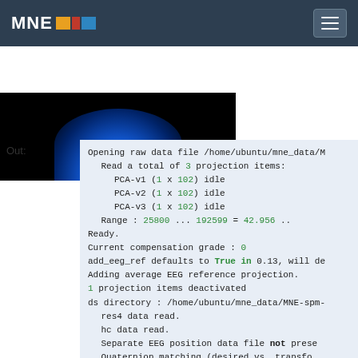MNE
[Figure (photo): Dark image with blue glowing shape at bottom center, resembling a brain or helmet illuminated in blue light against a black background.]
Out:
Opening raw data file /home/ubuntu/mne_data/M
    Read a total of 3 projection items:
        PCA-v1 (1 x 102)  idle
        PCA-v2 (1 x 102)  idle
        PCA-v3 (1 x 102)  idle
    Range : 25800 ... 192599 =     42.956 ..
Ready.
Current compensation grade : 0
add_eeg_ref defaults to True in 0.13, will de
Adding average EEG reference projection.
1 projection items deactivated
ds directory : /home/ubuntu/mne_data/MNE-spm-
    res4 data read.
    hc data read.
    Separate EEG position data file not prese
    Quaternion matching (desired vs. transfo